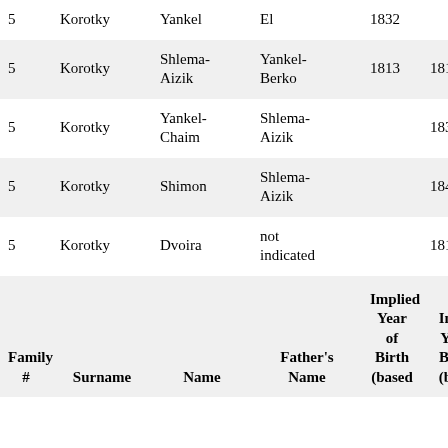| Family # | Surname | Name | Father's Name | Implied Year of Birth (based | Implied Year of Birth (bas |
| --- | --- | --- | --- | --- | --- |
| 5 | Korotky | Yankel | El | 1832 |  |
| 5 | Korotky | Shlema-Aizik | Yankel-Berko | 1813 | 1813 |
| 5 | Korotky | Yankel-Chaim | Shlema-Aizik |  | 1836 |
| 5 | Korotky | Shimon | Shlema-Aizik |  | 1840 |
| 5 | Korotky | Dvoira | not indicated |  | 1814 |